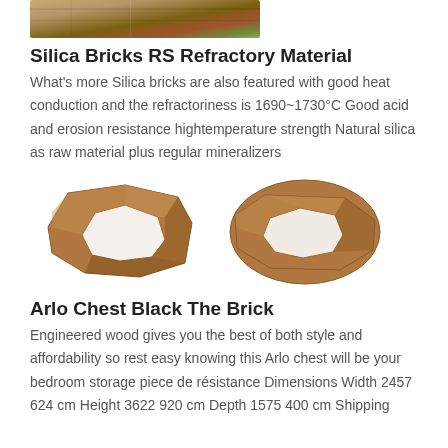[Figure (photo): Top portion of a photograph showing silica/refractory bricks with brownish-orange and green tones, partially cropped at top of page]
Silica Bricks RS Refractory Material
What's more Silica bricks are also featured with good heat conduction and the refractoriness is 1690~1730°C Good acid and erosion resistance hightemperature strength Natural silica as raw material plus regular mineralizers
[Figure (photo): Two brown/tan colored refractory brick pieces with hollow centers, shown side by side against white background]
Arlo Chest Black The Brick
Engineered wood gives you the best of both style and affordability so rest easy knowing this Arlo chest will be your bedroom storage piece de résistance Dimensions Width 2457 624 cm Height 3622 920 cm Depth 1575 400 cm Shipping